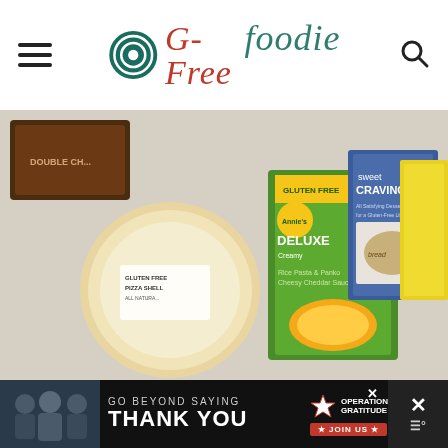G-Free Foodie
[Figure (photo): Collage of gluten-free food products including Annie's Deluxe gluten-free mac and cheese box, a gluten-free pizza shell, Sweet Cravings cookbook, and other gluten-free food items]
POPULAR CATEGORIES
Appetizers + Snacks
Beverages
[Figure (infographic): Advertisement banner: 'Go Beyond Saying Thank You' with Operation Gratitude logo and 'Join Us' call to action]